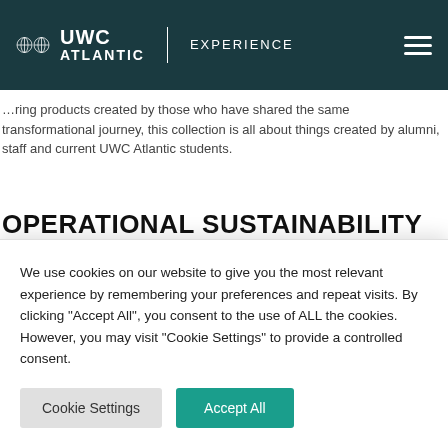THE HERITAGE COLLECTION
[Figure (logo): UWC Atlantic Experience logo with globe icons on dark teal navigation bar]
…ring products created by those who have shared the same transformational journey, this collection is all about things created by alumni, staff and current UWC Atlantic students.
OPERATIONAL SUSTAINABILITY
It is important to us that our shop operates with sustainability strongly in mind. So that
We use cookies on our website to give you the most relevant experience by remembering your preferences and repeat visits. By clicking "Accept All", you consent to the use of ALL the cookies. However, you may visit "Cookie Settings" to provide a controlled consent.